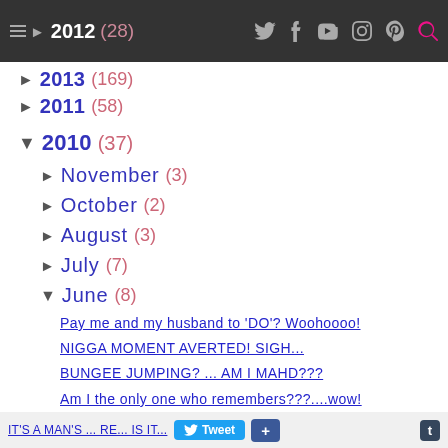2012 (28) — navigation bar with social icons
▶ 2013 (169)
▶ 2012 (28)
▶ 2011 (58)
▼ 2010 (37)
▶ November (3)
▶ October (2)
▶ August (3)
▶ July (7)
▼ June (8)
Pay me and my husband to 'DO'? Woohoooo!
NIGGA MOMENT AVERTED! SIGH...
BUNGEE JUMPING? ... AM I MAHD???
Am I the only one who remembers???....wow!
Happy fathers day papa! sorry, "DAD ...
IT'S A MAN'S ... RE... IS IT...  [Tweet] [+] [t]